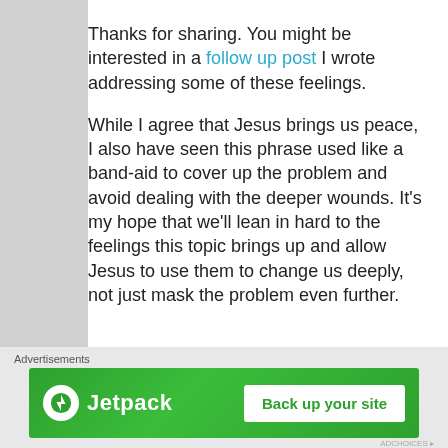Thanks for sharing. You might be interested in a follow up post I wrote addressing some of the these feelings.

While I agree that Jesus brings us peace, I also have seen this phrase used like a band-aid to cover up the problem and avoid dealing with the deeper wounds. It's my hope that we'll lean in hard to the feelings this topic brings up and allow Jesus to use them to change us deeply, not just mask the problem even further.
Like
Advertisements — Jetpack: Back up your site